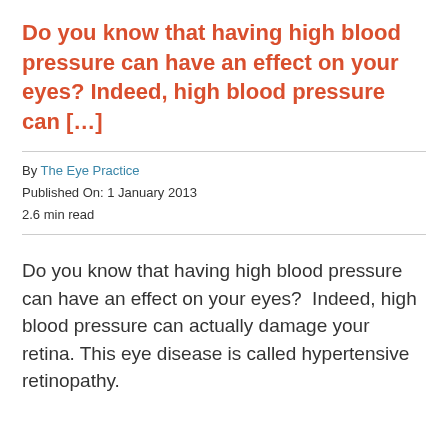Do you know that having high blood pressure can have an effect on your eyes? Indeed, high blood pressure can […]
By The Eye Practice
Published On: 1 January 2013
2.6 min read
Do you know that having high blood pressure can have an effect on your eyes?  Indeed, high blood pressure can actually damage your retina. This eye disease is called hypertensive retinopathy.